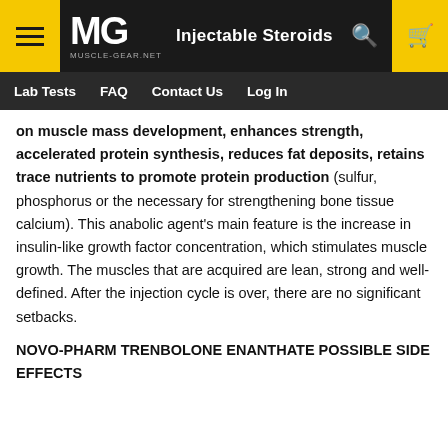MG MUSCLE-GEAR.NET | Injectable Steroids | Lab Tests | FAQ | Contact Us | Log In
on muscle mass development, enhances strength, accelerated protein synthesis, reduces fat deposits, retains trace nutrients to promote protein production (sulfur, phosphorus or the necessary for strengthening bone tissue calcium). This anabolic agent's main feature is the increase in insulin-like growth factor concentration, which stimulates muscle growth. The muscles that are acquired are lean, strong and well-defined. After the injection cycle is over, there are no significant setbacks.
NOVO-PHARM TRENBOLONE ENANTHATE POSSIBLE SIDE EFFECTS